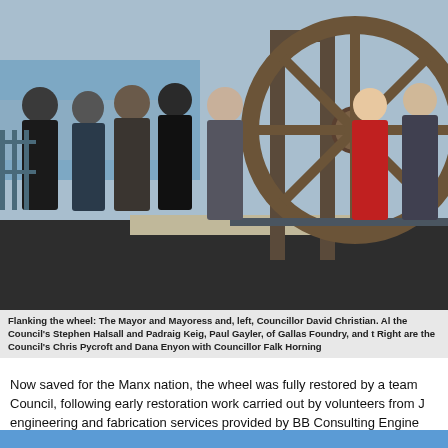[Figure (photo): Group photo of people standing outdoors flanking a large restored wooden wheel/gear mechanism. Seven people on the left in casual/dark clothing and two people on the right in formal attire (woman in red coat with mayoral chain, man in suit). Industrial waterside setting with sea visible in background.]
Flanking the wheel: The Mayor and Mayoress and, left, Councillor David Christian. Al the Council's Stephen Halsall and Padraig Keig, Paul Gayler, of Gallas Foundry, and t Right are the Council's Chris Pycroft and Dana Enyon with Councillor Falk Horning
Now saved for the Manx nation, the wheel was fully restored by a team Council, following early restoration work carried out by volunteers from J engineering and fabrication services provided by BB Consulting Engine